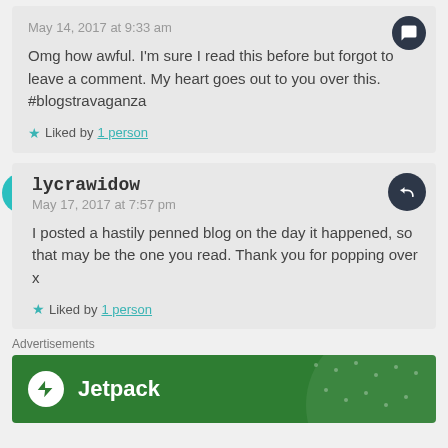May 14, 2017 at 9:33 am
Omg how awful. I'm sure I read this before but forgot to leave a comment. My heart goes out to you over this. #blogstravaganza
Liked by 1 person
lycrawidow
May 17, 2017 at 7:57 pm
I posted a hastily penned blog on the day it happened, so that may be the one you read. Thank you for popping over x
Liked by 1 person
Advertisements
[Figure (logo): Jetpack logo/advertisement banner with green background]